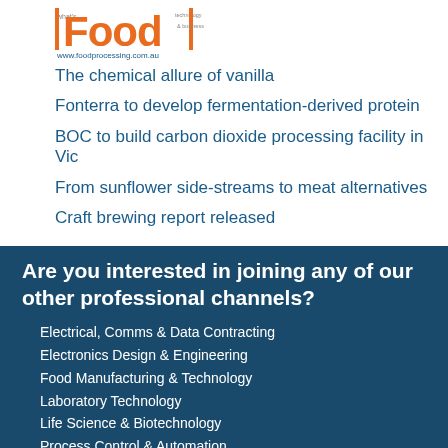[Figure (logo): Food processing magazine logo with orange 'Food' text and website www.foodprocessing.com.au]
The chemical allure of vanilla
Fonterra to develop fermentation-derived protein
BOC to build carbon dioxide processing facility in Vic
From sunflower side-streams to meat alternatives
Craft brewing report released
Are you interested in joining any of our other professional channels?
Electrical, Comms & Data Contracting
Electronics Design & Engineering
Food Manufacturing & Technology
Laboratory Technology
Life Science & Biotechnology
Process Control & Automation
Radio Communications
Health & Safety at Work
Sustainability - Industry & government